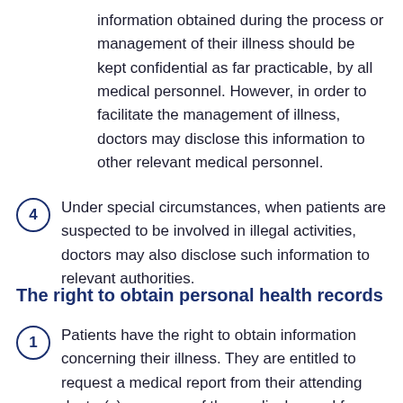information obtained during the process or management of their illness should be kept confidential as far practicable, by all medical personnel. However, in order to facilitate the management of illness, doctors may disclose this information to other relevant medical personnel.
4 Under special circumstances, when patients are suspected to be involved in illegal activities, doctors may also disclose such information to relevant authorities.
The right to obtain personal health records
1 Patients have the right to obtain information concerning their illness. They are entitled to request a medical report from their attending doctor(s) or a copy of the medical record from the